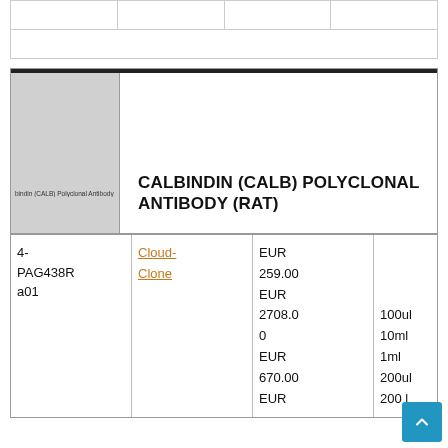|  |  |  |  |
|  |  |  |  |
[Figure (photo): Gray placeholder image for Calbindin (CALB) Polyclonal Antibody (Rat) product with small label text]
CALBINDIN (CALB) POLYCLONAL ANTIBODY (RAT)
| 4-PAG438Ra01 | Cloud-Clone | EUR 259.00
EUR 2708.00
EUR 670.00
EUR | 100ul
10ml
1ml
200ul
200ml |